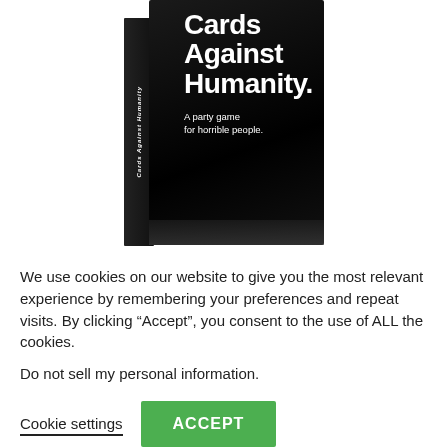[Figure (photo): Product photo of 'Cards Against Humanity' black box game. The box shows the title 'Cards Against Humanity.' and subtitle 'A party game for horrible people.' The spine of the box is also visible with small italic text.]
We use cookies on our website to give you the most relevant experience by remembering your preferences and repeat visits. By clicking “Accept”, you consent to the use of ALL the cookies.
Do not sell my personal information.
Cookie settings
ACCEPT